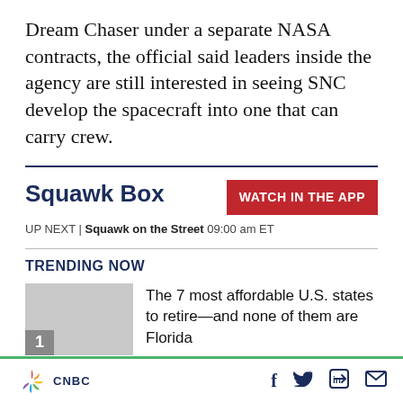Dream Chaser under a separate NASA contracts, the official said leaders inside the agency are still interested in seeing SNC develop the spacecraft into one that can carry crew.
Squawk Box
WATCH IN THE APP
UP NEXT | Squawk on the Street 09:00 am ET
TRENDING NOW
The 7 most affordable U.S. states to retire—and none of them are Florida
CNBC | social icons: facebook, twitter, linkedin, email